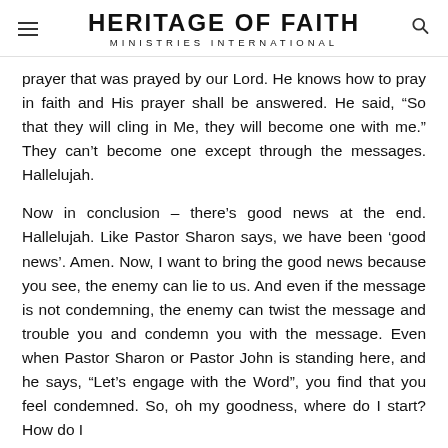HERITAGE OF FAITH MINISTRIES INTERNATIONAL
prayer that was prayed by our Lord. He knows how to pray in faith and His prayer shall be answered. He said, “So that they will cling in Me, they will become one with me.” They can’t become one except through the messages. Hallelujah.
Now in conclusion – there’s good news at the end. Hallelujah. Like Pastor Sharon says, we have been ‘good news’. Amen. Now, I want to bring the good news because you see, the enemy can lie to us. And even if the message is not condemning, the enemy can twist the message and trouble you and condemn you with the message. Even when Pastor Sharon or Pastor John is standing here, and he says, “Let’s engage with the Word”, you find that you feel condemned. So, oh my goodness, where do I start? How do I